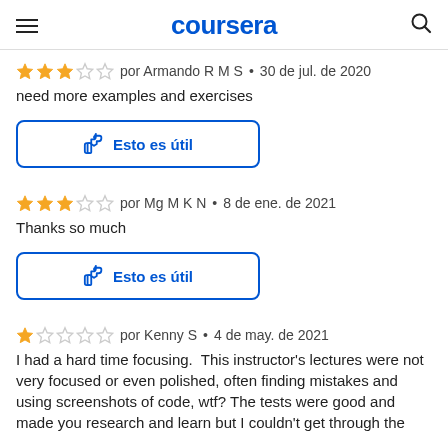coursera
★★★☆☆ por Armando R M S • 30 de jul. de 2020
need more examples and exercises
[Figure (other): Thumbs up button labeled 'Esto es útil']
★★★☆☆ por Mg M K N • 8 de ene. de 2021
Thanks so much
[Figure (other): Thumbs up button labeled 'Esto es útil']
★★☆☆☆ por Kenny S • 4 de may. de 2021
I had a hard time focusing.  This instructor's lectures were not very focused or even polished, often finding mistakes and using screenshots of code, wtf? The tests were good and made you research and learn but I couldn't get through the